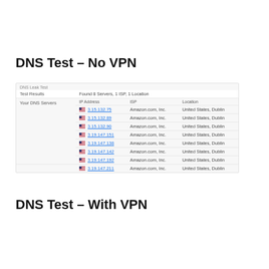DNS Test – No VPN
[Figure (screenshot): DNS Leak Test screenshot showing 'Test Results: Found 8 Servers, 1 ISP, 1 Location' and DNS servers with IP addresses from Amazon.com, Inc. in United States, Dublin]
DNS Test – With VPN